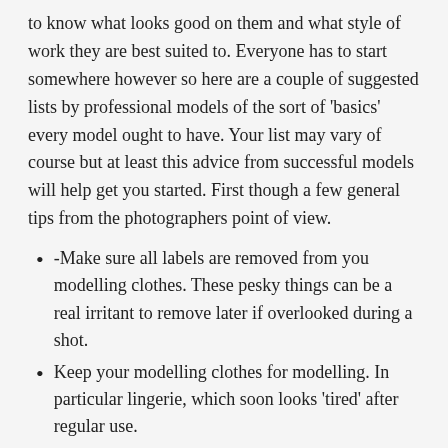to know what looks good on them and what style of work they are best suited to. Everyone has to start somewhere however so here are a couple of suggested lists by professional models of the sort of 'basics' every model ought to have. Your list may vary of course but at least this advice from successful models will help get you started. First though a few general tips from the photographers point of view.
-Make sure all labels are removed from you modelling clothes. These pesky things can be a real irritant to remove later if overlooked during a shot.
Keep your modelling clothes for modelling. In particular lingerie, which soon looks 'tired' after regular use.
Shoes for modelling should NEVER be worn normally. Some poses show the soles and if they are scuffed up it spoils the shot. Oh and remember to remove labels from the sole!
Photographers hate cheap fake tan or strap marks showing.